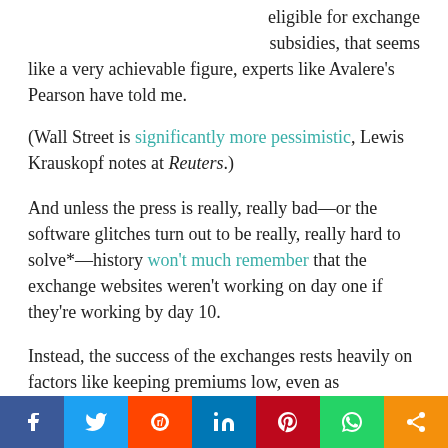eligible for exchange subsidies, that seems like a very achievable figure, experts like Avalere's Pearson have told me.
(Wall Street is significantly more pessimistic, Lewis Krauskopf notes at Reuters.)
And unless the press is really, really bad—or the software glitches turn out to be really, really hard to solve*—history won't much remember that the exchange websites weren't working on day one if they're working by day 10.
Instead, the success of the exchanges rests heavily on factors like keeping premiums low, even as participating health plans begin to cover millions of
Facebook Twitter Reddit LinkedIn Pinterest WhatsApp Share